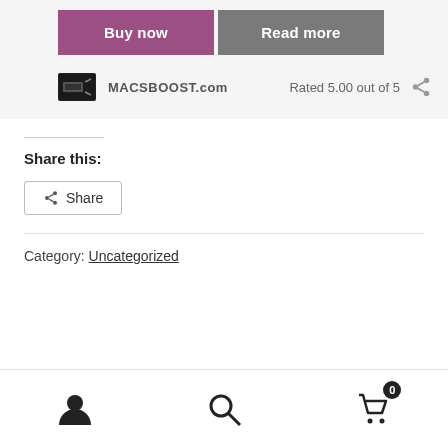Buy now
Read more
MACSBOOST.com
Rated 5.00 out of 5
Share this:
Share
Category: Uncategorized